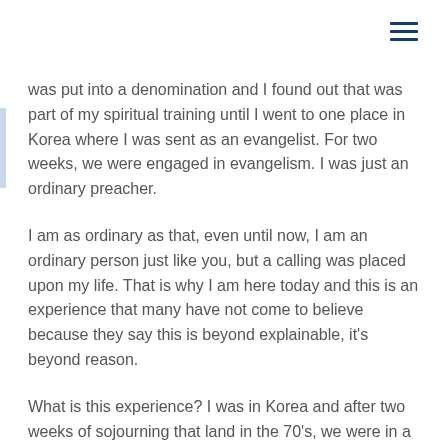was put into a denomination and I found out that was part of my spiritual training until I went to one place in Korea where I was sent as an evangelist. For two weeks, we were engaged in evangelism. I was just an ordinary preacher.
I am as ordinary as that, even until now, I am an ordinary person just like you, but a calling was placed upon my life. That is why I am here today and this is an experience that many have not come to believe because they say this is beyond explainable, it's beyond reason.
What is this experience? I was in Korea and after two weeks of sojourning that land in the 70's, we were in a ballroom service, we were praising and